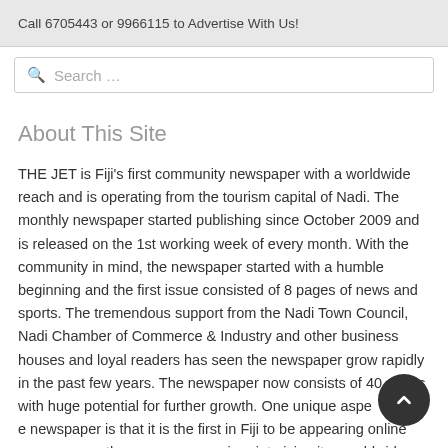Call 6705443 or 9966115 to Advertise With Us!
About This Site
THE JET is Fiji's first community newspaper with a worldwide reach and is operating from the tourism capital of Nadi. The monthly newspaper started publishing since October 2009 and is released on the 1st working week of every month. With the community in mind, the newspaper started with a humble beginning and the first issue consisted of 8 pages of news and sports. The tremendous support from the Nadi Town Council, Nadi Chamber of Commerce & Industry and other business houses and loyal readers has seen the newspaper grow rapidly in the past few years. The newspaper now consists of 40 pages with huge potential for further growth. One unique aspect of the newspaper is that it is the first in Fiji to be appearing online exactly when the paper appears in print giving it a worldwide readership. All issues of